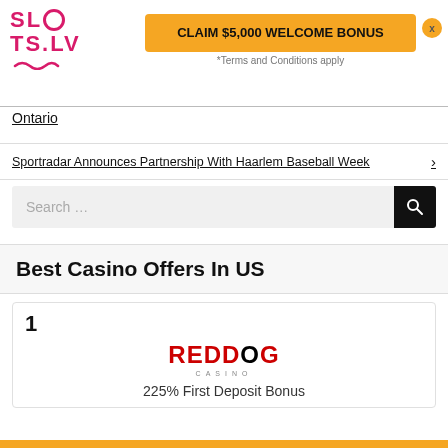[Figure (logo): SLOTS.LV logo in pink/red text with a small icon below]
[Figure (infographic): Yellow CTA button reading CLAIM $5,000 WELCOME BONUS with Terms and Conditions apply below it and a close X button]
Ontario
Sportradar Announces Partnership With Haarlem Baseball Week >
[Figure (screenshot): Search box with placeholder text 'Search ...' and a dark search icon button]
Best Casino Offers In US
1
[Figure (logo): Red Dog Casino logo — REDDOG in bold with CASINO subtitle]
225% First Deposit Bonus